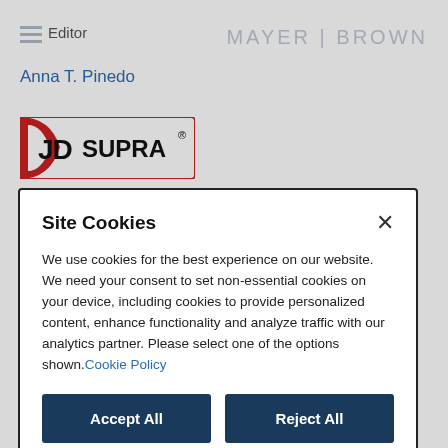Editor
Anna T. Pinedo
[Figure (logo): JDSupra logo — red and black rectangular logo with stylized text]
Site Cookies
We use cookies for the best experience on our website. We need your consent to set non-essential cookies on your device, including cookies to provide personalized content, enhance functionality and analyze traffic with our analytics partner. Please select one of the options shown. Cookie Policy
Accept All
Reject All
Manage Options